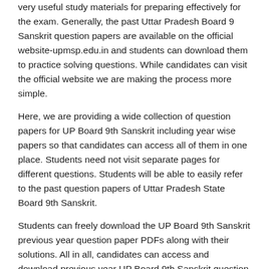very useful study materials for preparing effectively for the exam. Generally, the past Uttar Pradesh Board 9 Sanskrit question papers are available on the official website-upmsp.edu.in and students can download them to practice solving questions. While candidates can visit the official website we are making the process more simple.
Here, we are providing a wide collection of question papers for UP Board 9th Sanskrit including year wise papers so that candidates can access all of them in one place. Students need not visit separate pages for different questions. Students will be able to easily refer to the past question papers of Uttar Pradesh State Board 9th Sanskrit.
Students can freely download the UP Board 9th Sanskrit previous year question paper PDFs along with their solutions. All in all, candidates can access and download previous year UP Board 9th Sanskrit question papers with solutions from the links provided on this page.
UP Board 9th Sanskrit Previous Year Question Paper